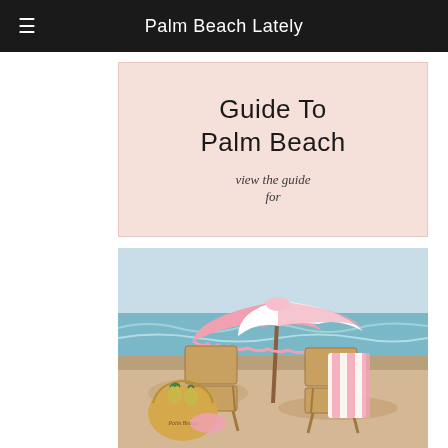Palm Beach Lately
[Figure (illustration): Guide To Palm Beach banner with pink/peach background, text 'Guide To Palm Beach' and cursive 'view the guide for']
[Figure (photo): Beach scene with pink and white striped beach umbrella, two rattan beach chairs, a pink striped towel draped over one chair, a straw tote bag with pineapples, and ocean waves in background]